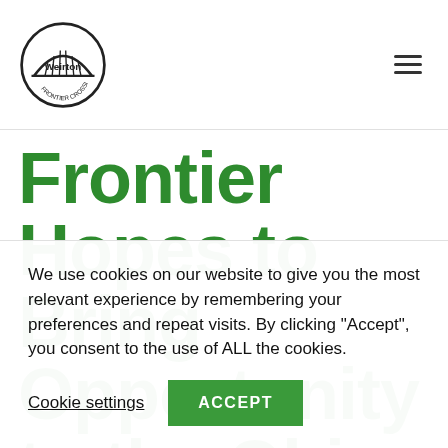Weirton — navigation header with logo and hamburger menu
Frontier Hopes to Bring Opportunity to the Ohio
We use cookies on our website to give you the most relevant experience by remembering your preferences and repeat visits. By clicking “Accept”, you consent to the use of ALL the cookies.
Cookie settings
ACCEPT